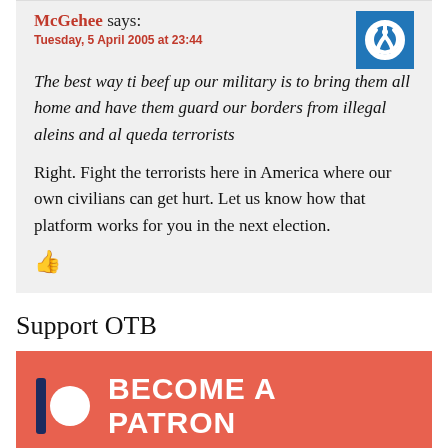McGehee says:
Tuesday, 5 April 2005 at 23:44
The best way ti beef up our military is to bring them all home and have them guard our borders from illegal aleins and al queda terrorists
Right. Fight the terrorists here in America where our own civilians can get hurt. Let us know how that platform works for you in the next election.
Support OTB
[Figure (logo): Patreon banner with logo and text BECOME A PATRON on salmon/coral background]